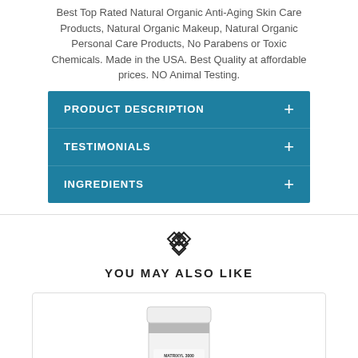Best Top Rated Natural Organic Anti-Aging Skin Care Products, Natural Organic Makeup, Natural Organic Personal Care Products, No Parabens or Toxic Chemicals. Made in the USA. Best Quality at affordable prices. NO Animal Testing.
PRODUCT DESCRIPTION
TESTIMONIALS
INGREDIENTS
YOU MAY ALSO LIKE
[Figure (photo): White cylindrical jar of Matrixyl 3000 Collagen Boost Firming Serum Age Defying 2oz skin care product with silver lid]